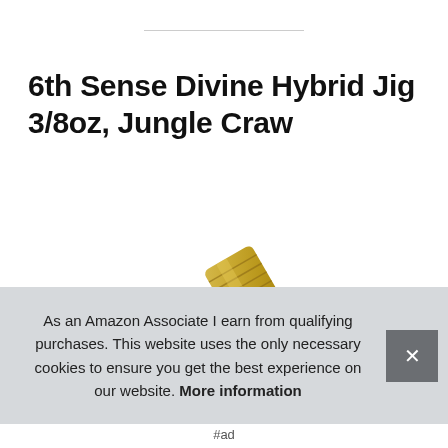6th Sense Divine Hybrid Jig 3/8oz, Jungle Craw
[Figure (photo): Product photo of a fishing jig hook with gold/bronze colored head, showing metal hooks against white background]
As an Amazon Associate I earn from qualifying purchases. This website uses the only necessary cookies to ensure you get the best experience on our website. More information
#ad